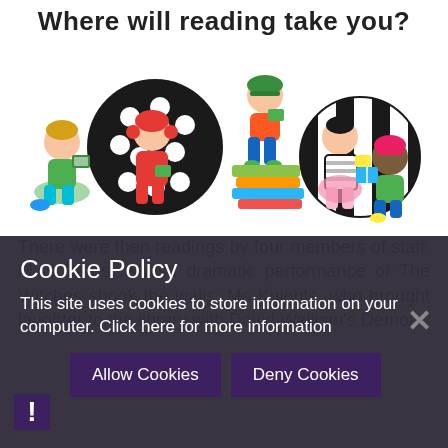Where will reading take you?
[Figure (illustration): Illustration of four children reading books in various poses against decorative circle backgrounds (polka dot, striped). Children sitting and reading with books and backpacks.]
There were then readings by four members of staff: Miss Bates, whose dramatic performance of The Witches shook the walls; Ms Knights, who brought laughter to the library with David Walliam's Demon ...
Cookie Policy
This site uses cookies to store information on your computer. Click here for more information